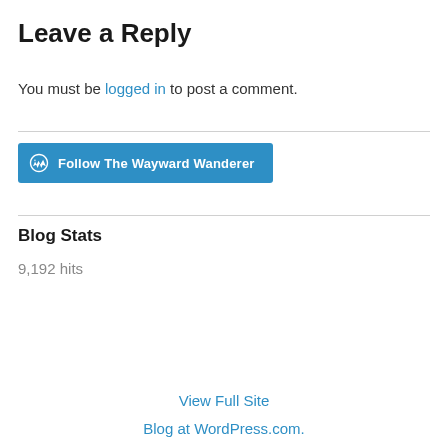Leave a Reply
You must be logged in to post a comment.
[Figure (other): Follow The Wayward Wanderer WordPress follow button]
Blog Stats
9,192 hits
View Full Site
Blog at WordPress.com.